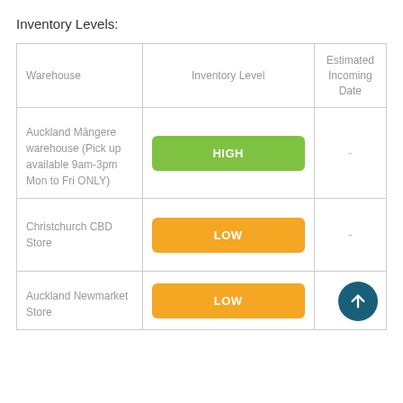Inventory Levels:
| Warehouse | Inventory Level | Estimated Incoming Date |
| --- | --- | --- |
| Auckland Māngere warehouse (Pick up available 9am-3pm Mon to Fri ONLY) | HIGH | - |
| Christchurch CBD Store | LOW | - |
| Auckland Newmarket Store | LOW | - |